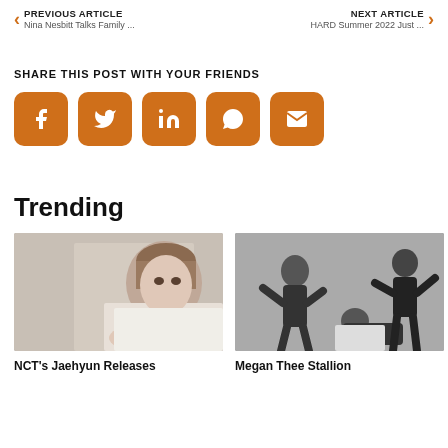PREVIOUS ARTICLE Nina Nesbitt Talks Family ... | NEXT ARTICLE HARD Summer 2022 Just ...
SHARE THIS POST WITH YOUR FRIENDS
[Figure (infographic): Five orange rounded-square social share buttons: Facebook, Twitter, LinkedIn, WhatsApp, Email]
Trending
[Figure (photo): Photo of NCT's Jaehyun lying down, wearing white, looking toward camera]
[Figure (photo): Black and white photo of Megan Thee Stallion with dancers in dark bodysuits]
NCT's Jaehyun Releases
Megan Thee Stallion